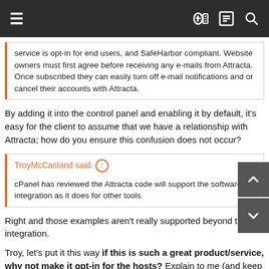Navigation bar with hamburger menu and icons
service is opt-in for end users, and SafeHarbor compliant. Website owners must first agree before receiving any e-mails from Attracta. Once subscribed they can easily turn off e-mail notifications and or cancel their accounts with Attracta.
By adding it into the control panel and enabling it by default, it's easy for the client to assume that we have a relationship with Attracta; how do you ensure this confusion does not occur?
TroyMcCasland said: ↑
cPanel has reviewed the Attracta code will support the software integration as it does for other tools
Right and those examples aren't really supported beyond the integration.
Troy, let's put it this way if this is such a great product/service, why not make it opt-in for the hosts? Explain to me (and keep it simple 'cos I still have to have my